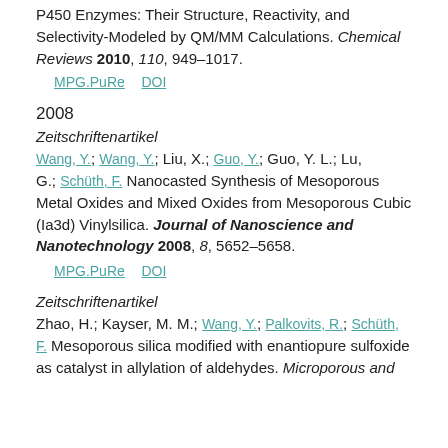P450 Enzymes: Their Structure, Reactivity, and Selectivity-Modeled by QM/MM Calculations. Chemical Reviews 2010, 110, 949–1017.
MPG.PuRe   DOI
2008
Zeitschriftenartikel
Wang, Y.; Wang, Y.; Liu, X.; Guo, Y.; Guo, Y. L.; Lu, G.; Schüth, F. Nanocasted Synthesis of Mesoporous Metal Oxides and Mixed Oxides from Mesoporous Cubic (Ia3d) Vinylsilica. Journal of Nanoscience and Nanotechnology 2008, 8, 5652–5658.
MPG.PuRe   DOI
Zeitschriftenartikel
Zhao, H.; Kayser, M. M.; Wang, Y.; Palkovits, R.; Schüth, F. Mesoporous silica modified with enantiopure sulfoxide as catalyst in allylation of aldehydes. Microporous and